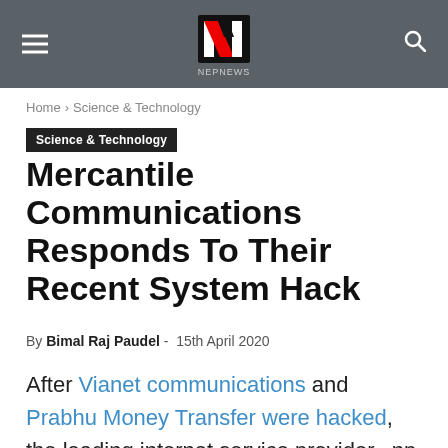NepNews header with navigation
Home > Science & Technology
Science & Technology
Mercantile Communications Responds To Their Recent System Hack
By Bimal Raj Paudel - 15th April 2020
After Vianet communications and Prabhu Money Transfer were hacked, the leading internet service provider, .np registrar, and